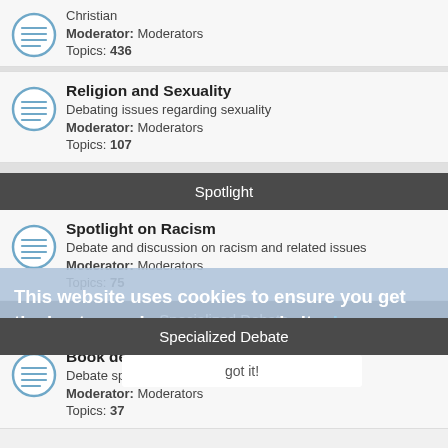Christian
Moderator: Moderators
Topics: 436
Religion and Sexuality
Debating issues regarding sexuality
Moderator: Moderators
Topics: 107
Spotlight
Spotlight on Racism
Debate and discussion on racism and related issues
Moderator: Moderators
Topics: 75
Specialized Debate
Book debates
Debate specific books
Moderator: Moderators
Topics: 37
This website uses cookies to ensure you get the best experience on our website. Learn more